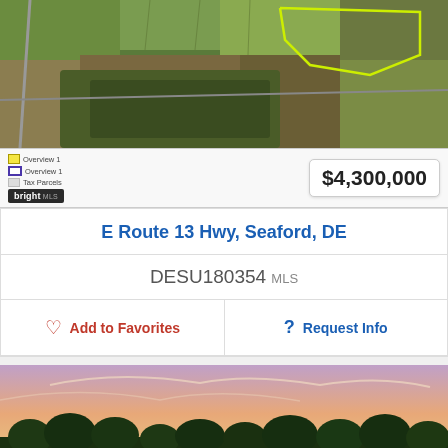[Figure (map): Aerial satellite map view of land parcel near Seaford, DE with yellow boundary outline marking the property]
$4,300,000
E Route 13 Hwy, Seaford, DE
DESU180354 MLS
Add to Favorites
Request Info
[Figure (photo): Sunset photo of a residential property with trees silhouetted against a pink and purple sky]